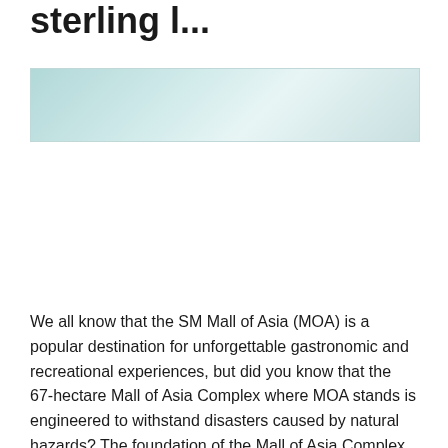sterling l...
[Figure (photo): A light blue-teal gradient banner image, appearing to show a sky or water scene, partially cropped.]
We all know that the SM Mall of Asia (MOA) is a popular destination for unforgettable gastronomic and recreational experiences, but did you know that the 67-hectare Mall of Asia Complex where MOA stands is engineered to withstand disasters caused by natural hazards? The foundation of the Mall of Asia Complex was built to be […]